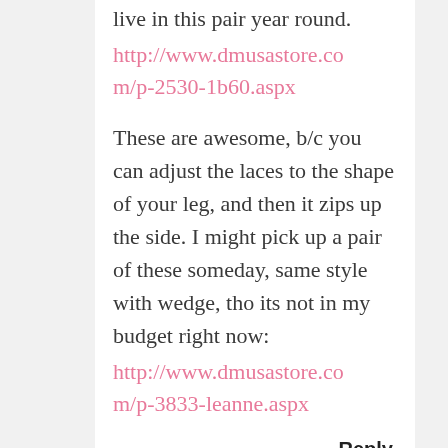live in this pair year round.
http://www.dmusastore.com/p-2530-1b60.aspx
These are awesome, b/c you can adjust the laces to the shape of your leg, and then it zips up the side. I might pick up a pair of these someday, same style with wedge, tho its not in my budget right now:
http://www.dmusastore.com/p-3833-leanne.aspx
Reply